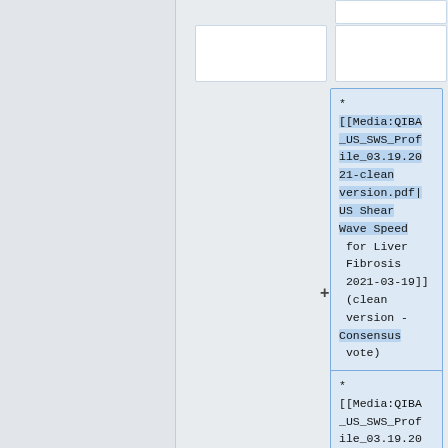* [[Media:QIBA_US_SWS_Profile_03.19.2021-clean version.pdf|US Shear Wave Speed for Liver Fibrosis 2021-03-19]] (clean version - Consensus vote)
* [[Media:QIBA_US_SWS_Profile_03.19.20...